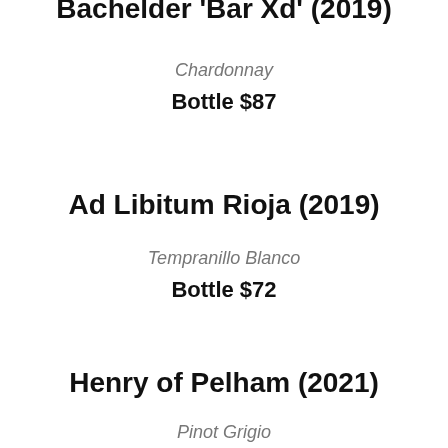Bachelder 'Bar Xd' (2019)
Chardonnay
Bottle $87
Ad Libitum Rioja (2019)
Tempranillo Blanco
Bottle $72
Henry of Pelham (2021)
Pinot Grigio